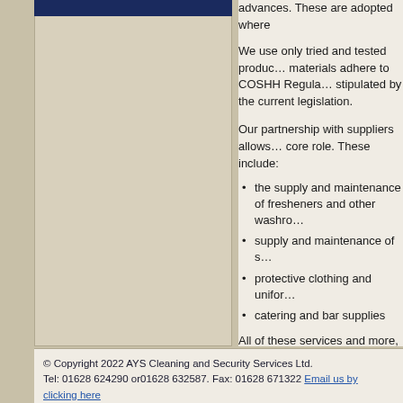advances. These are adopted where
We use only tried and tested products. All materials adhere to COSHH Regulations as stipulated by the current legislation.
Our partnership with suppliers allows core role. These include:
the supply and maintenance of fresheners and other washro...
supply and maintenance of s...
protective clothing and unifor...
catering and bar supplies
All of these services and more, are a capacity.
© Copyright 2022 AYS Cleaning and Security Services Ltd. Tel: 01628 624290 or01628 632587. Fax: 01628 671322 Email us by clicking here Privacy Policy and Terms and Conditions of Use.